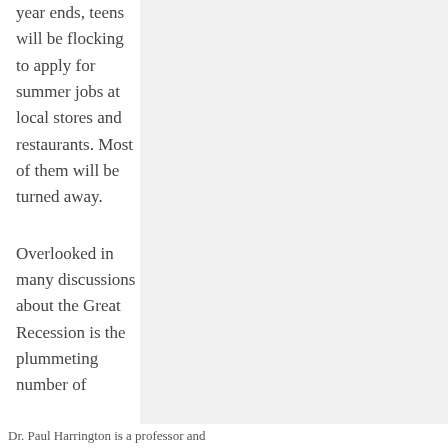year ends, teens will be flocking to apply for summer jobs at local stores and restaurants. Most of them will be turned away.
Overlooked in many discussions about the Great Recession is the plummeting number of
Dr. Paul Harrington is a professor and